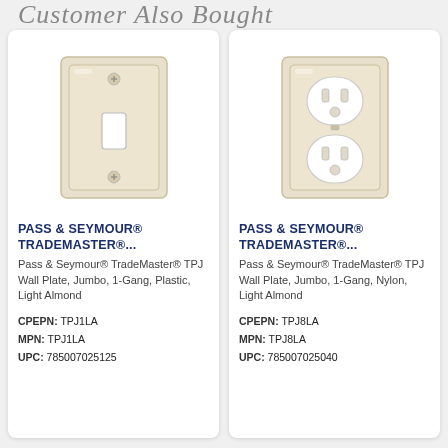Customer Also Bought
[Figure (photo): Pass & Seymour TradeMaster TPJ Wall Plate, Jumbo, 1-Gang, Plastic, Light Almond — toggle switch cover plate in ivory/almond color]
PASS & SEYMOUR® TRADEMASTER®...
Pass & Seymour® TradeMaster® TPJ Wall Plate, Jumbo, 1-Gang, Plastic, Light Almond
CPEPN: TPJ1LA
MPN: TPJ1LA
UPC: 785007025125
[Figure (photo): Pass & Seymour TradeMaster TPJ Wall Plate, Jumbo, 1-Gang, Nylon, Light Almond — duplex outlet cover plate in ivory/almond color]
PASS & SEYMOUR® TRADEMASTER®...
Pass & Seymour® TradeMaster® TPJ Wall Plate, Jumbo, 1-Gang, Nylon, Light Almond
CPEPN: TPJ8LA
MPN: TPJ8LA
UPC: 785007025040